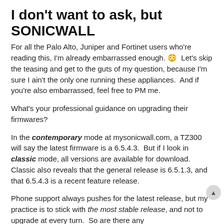I don't want to ask, but SONICWALL
For all the Palo Alto, Juniper and Fortinet users who're reading this, I'm already embarrassed enough. 😳  Let's skip the teasing and get to the guts of my question, because I'm sure I ain't the only one running these appliances.  And if you're also embarrassed, feel free to PM me.
What's your professional guidance on upgrading their firmwares?
In the contemporary mode at mysonicwall.com, a TZ300 will say the latest firmware is a 6.5.4.3.  But if I look in classic mode, all versions are available for download.  Classic also reveals that the general release is 6.5.1.3, and that 6.5.4.3 is a recent feature release.
Phone support always pushes for the latest release, but my practice is to stick with the most stable release, and not to upgrade at every turn.  So are there any